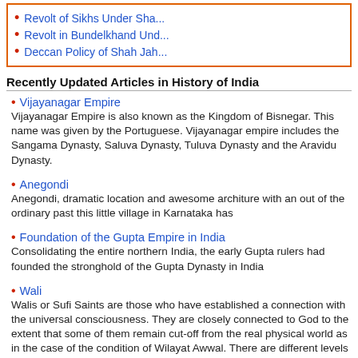Revolt of Sikhs Under Sha...
Revolt in Bundelkhand Und...
Deccan Policy of Shah Jah...
Recently Updated Articles in History of India
Vijayanagar Empire
Vijayanagar Empire is also known as the Kingdom of Bisnegar. This name was given by the Portuguese. Vijayanagar empire includes the Sangama Dynasty, Saluva Dynasty, Tuluva Dynasty and the Aravidu Dynasty.
Anegondi
Anegondi, dramatic location and awesome architure with an out of the ordinary past this little village in Karnataka has
Foundation of the Gupta Empire in India
Consolidating the entire northern India, the early Gupta rulers had founded the stronghold of the Gupta Dynasty in India
Wali
Walis or Sufi Saints are those who have established a connection with the universal consciousness. They are closely connected to God to the extent that some of them remain cut-off from the real physical world as in the case of the condition of Wilayat Awwal. There are different levels of Wali depending on the extent of love and unity with the Almighty that they feel and exhibit in their behaviour.